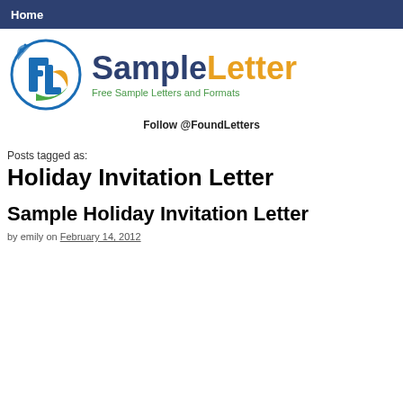Home
[Figure (logo): SampleLetter website logo: circular blue logo with stylized letters FL and swoosh accents, alongside text 'SampleLetter' with 'Sample' in dark blue and 'Letter' in orange, and tagline 'Free Sample Letters and Formats' in green]
Follow @FoundLetters
Posts tagged as:
Holiday Invitation Letter
Sample Holiday Invitation Letter
by emily on February 14, 2012